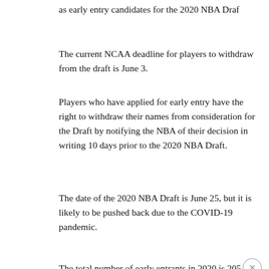as early entry candidates for the 2020 NBA Draf
The current NCAA deadline for players to withdraw from the draft is June 3.
Players who have applied for early entry have the right to withdraw their names from consideration for the Draft by notifying the NBA of their decision in writing 10 days prior to the 2020 NBA Draft.
The date of the 2020 NBA Draft is June 25, but it is likely to be pushed back due to the COVID-19 pandemic.
The total number of early entrants in 2020 is 205. That number is down from 236 in 2018 and 233 in 2019.
[Figure (other): Seamless food delivery advertisement banner with pizza image, Seamless red logo, and ORDER NOW button]
Sm[ith] ... nd is expected to return for his senior season at IU. He is the only Indiana player ...